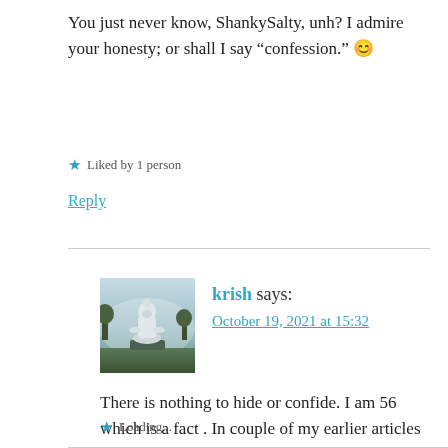You just never know, ShankySalty, unh? I admire your honesty; or shall I say “confession.” 😊
★ Liked by 1 person
Reply
krish says:
October 19, 2021 at 15:32
[Figure (photo): Avatar image of a Buddha statue in a misty outdoor setting]
There is nothing to hide or confide. I am 56 which is a fact . In couple of my earlier articles also I have spoken about my age .
★ Loading...